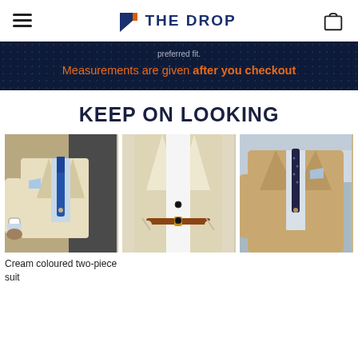THE DROP
preferred fit.
Measurements are given after you checkout
KEEP ON LOOKING
[Figure (photo): Man in cream coloured two-piece suit with blue tie and pocket square, checking watch]
Cream coloured two-piece suit
[Figure (photo): Man in cream/off-white suit with white shirt and brown belt, hands in pockets]
[Figure (photo): Man in tan/khaki suit with dark dotted tie and pocket square, outdoors]